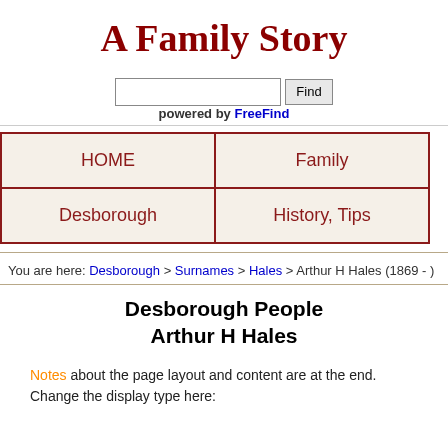A Family Story
[Figure (other): Search box with Find button and 'powered by FreeFind' text]
| HOME | Family |
| --- | --- |
| Desborough | History, Tips |
You are here: Desborough > Surnames > Hales > Arthur H Hales (1869 - )
Desborough People
Arthur H Hales
Notes about the page layout and content are at the end. Change the display type here: